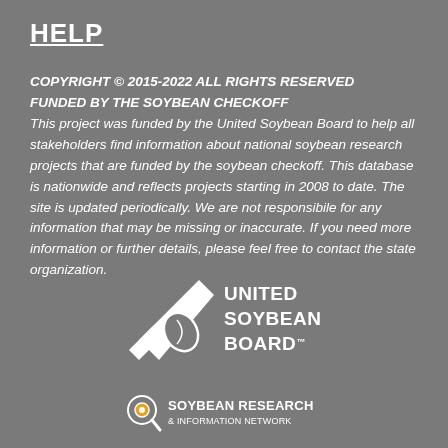HELP
COPYRIGHT © 2015-2022 ALL RIGHTS RESERVED FUNDED BY THE SOYBEAN CHECKOFF
This project was funded by the United Soybean Board to help all stakeholders find information about national soybean research projects that are funded by the soybean checkoff. This database is nationwide and reflects projects starting in 2008 to date. The site is updated periodically. We are not responsibile for any information that may be missing or inaccurate. If you need more information or further details, please feel free to contact the state organization.
[Figure (logo): United Soybean Board logo — checkmark with soybean, white text on dark background]
[Figure (logo): Soybean Research & Information Network logo — circular icon with magnifying glass, white text]